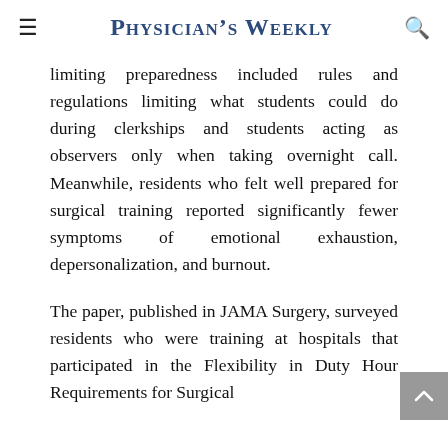Physician's Weekly
limiting preparedness included rules and regulations limiting what students could do during clerkships and students acting as observers only when taking overnight call. Meanwhile, residents who felt well prepared for surgical training reported significantly fewer symptoms of emotional exhaustion, depersonalization, and burnout.
The paper, published in JAMA Surgery, surveyed residents who were training at hospitals that participated in the Flexibility in Duty Hour Requirements for Surgical